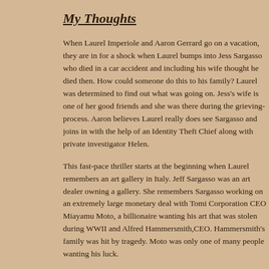My Thoughts
When Laurel Imperiole and Aaron Gerrard go on a vacation, they are in for a shock when Laurel bumps into Jess Sargasso who died in a car accident and including his wife thought he died then. How could someone do this to his family? Laurel was determined to find out what was going on. Jess's wife is one of her good friends and she was there during the grieving process. Aaron believes Laurel really does see Sargasso and joins in with the help of an Identity Theft Chief along with private investigator Helen.
This fast-pace thriller starts at the beginning when Laurel remembers an art gallery in Italy. Jeff Sargasso was an art dealer owning a gallery. She remembers Sargasso working on an extremely large monetary deal with Tomi Corporation CEO Miayamu Moto, a billionaire wanting his art that was stolen during WWII and Alfred Hammersmith,CEO. Hammersmith's family was hit by tragedy. Moto was only one of many people wanting his luck.
I was captured from the very beginning of this story. There are so many turns in the story the reader is kept guessing throughout the story. You do not know who to believe. And the very idea of Sargasso faking his death for greedy satisfaction.